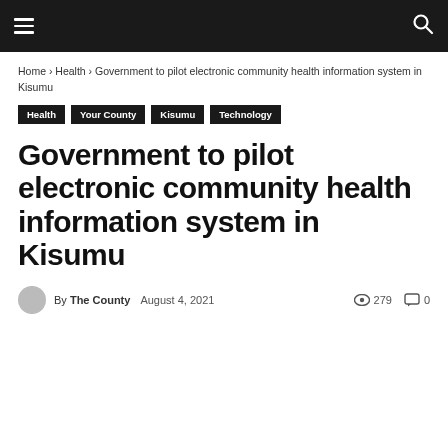☰  🔍
Home › Health › Government to pilot electronic community health information system in Kisumu
Health
Your County
Kisumu
Technology
Government to pilot electronic community health information system in Kisumu
By The County   August 4, 2021   279   0